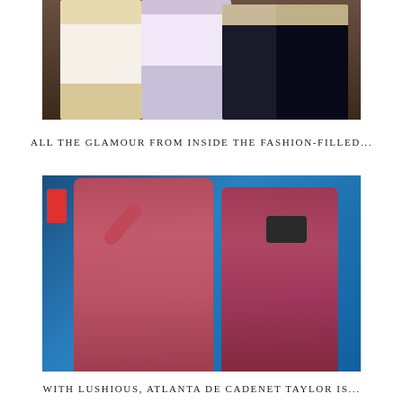[Figure (photo): Group photo of four people at a fashion event, including individuals in cream/white blazer, sparkly outfit, and dark suits, against a warm-toned background.]
ALL THE GLAMOUR FROM INSIDE THE FASHION-FILLED...
[Figure (photo): Two women in colorful swimwear/bodysuits against a blue background under red lighting. One is taking a selfie with a red phone, the other is photographing with a camera.]
WITH LUSHIOUS, ATLANTA DE CADENET TAYLOR IS...